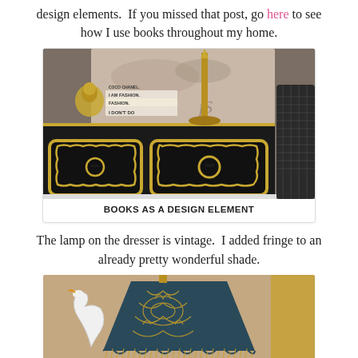design elements.  If you missed that post, go here to see how I use books throughout my home.
[Figure (photo): Black and gold dresser with stacked fashion books (I DON'T DO FASHION, I AM FASHION, COCO CHANEL), gold decorative figurine, and brass lamp on top. Partial view of a dark round wicker object to the right.]
BOOKS AS A DESIGN ELEMENT
The lamp on the dresser is vintage.  I added fringe to an already pretty wonderful shade.
[Figure (photo): Close-up of a vintage lampshade with dark teal/navy and gold ornate pattern, scalloped fringe edge. A white swan figure and gold frame visible in background.]